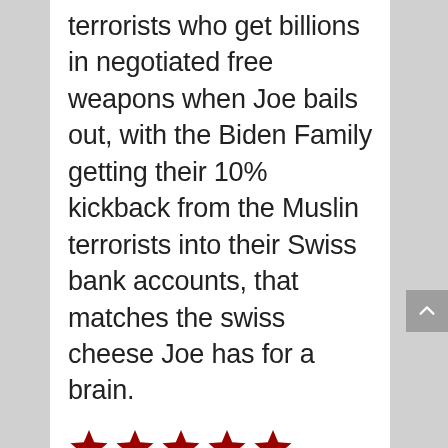terrorists who get billions in negotiated free weapons when Joe bails out, with the Biden Family getting their 10% kickback from the Muslin terrorists into their Swiss bank accounts, that matches the swiss cheese Joe has for a brain.
[Figure (other): Five red star rating icons in a row]
Rating: 5.0/5. From 6